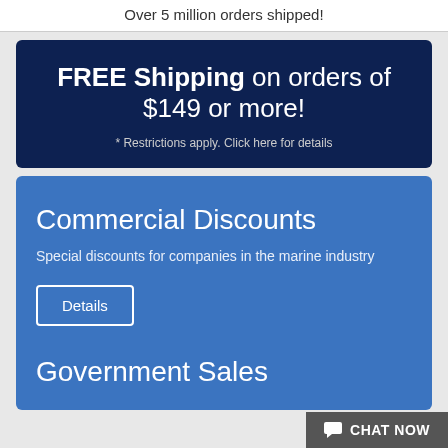Over 5 million orders shipped!
FREE Shipping on orders of $149 or more!
* Restrictions apply. Click here for details
Commercial Discounts
Special discounts for companies in the marine industry
Details
Government Sales
CHAT NOW